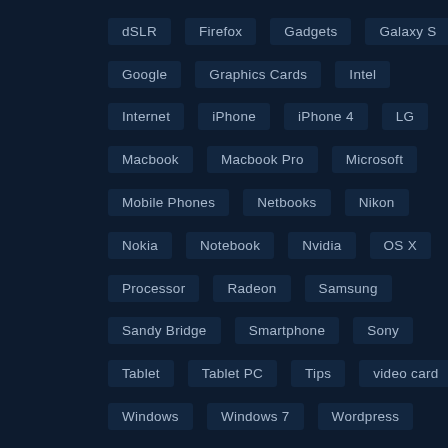dSLR
Firefox
Gadgets
Galaxy S
Google
Graphics Cards
Intel
Internet
iPhone
iPhone 4
LG
Macbook
Macbook Pro
Microsoft
Mobile Phones
Netbooks
Nikon
Nokia
Notebook
Nvidia
OS X
Processor
Radeon
Samsung
Sandy Bridge
Smartphone
Sony
Tablet
Tablet PC
Tips
video card
Windows
Windows 7
Wordpress